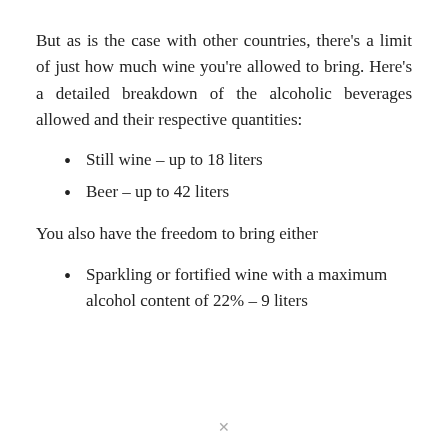But as is the case with other countries, there’s a limit of just how much wine you’re allowed to bring. Here’s a detailed breakdown of the alcoholic beverages allowed and their respective quantities:
Still wine – up to 18 liters
Beer – up to 42 liters
You also have the freedom to bring either
Sparkling or fortified wine with a maximum alcohol content of 22% – 9 liters